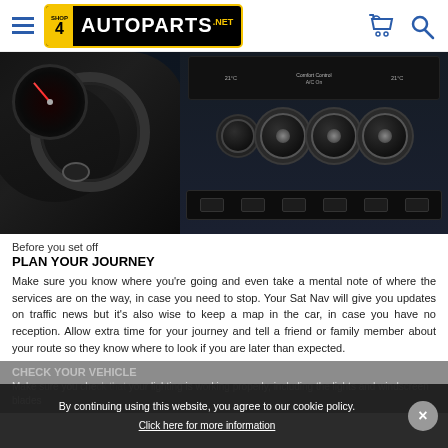Shop4AutoParts.net – navigation header with logo, hamburger menu, cart and search icons
[Figure (photo): Car interior dashboard photo showing steering wheel, gauge cluster with red needle, central air vents (three circular vents), center console screen showing temperature controls, and climate control strip at the bottom.]
Before you set off
PLAN YOUR JOURNEY
Make sure you know where you're going and even take a mental note of where the services are on the way, in case you need to stop. Your Sat Nav will give you updates on traffic news but it's also wise to keep a map in the car, in case you have no reception. Allow extra time for your journey and tell a friend or family member about your route so they know where to look if you are later than expected.
CHECK YOUR VEHICLE
Make sure you che... your lighting is working properly, including the lights and windscreen blades
By continuing using this website, you agree to our cookie policy. Click here for more information